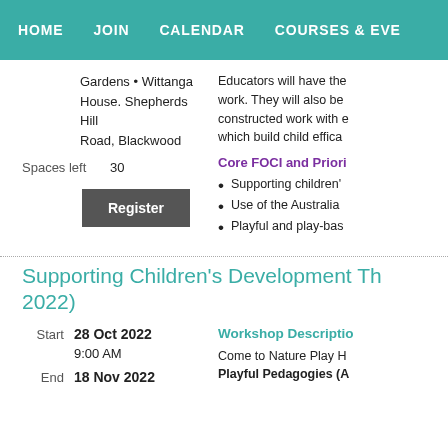HOME   JOIN   CALENDAR   COURSES & EVE...
Gardens • Wittanga House. Shepherds Hill Road, Blackwood
Spaces left  30
Register
Educators will have the work. They will also be constructed work with e which build child effica
Core FOCI and Priori
Supporting children'
Use of the Australia
Playful and play-bas
Supporting Children's Development Th 2022)
Start  28 Oct 2022
9:00 AM
End  18 Nov 2022
Workshop Descriptio
Come to Nature Play H Playful Pedagogies (A